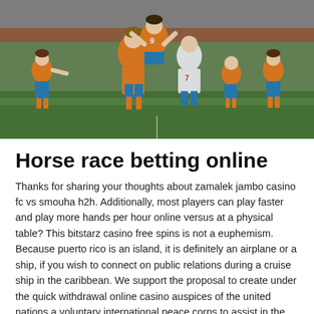[Figure (photo): Women's soccer players in orange (Netherlands) jerseys celebrating on a football pitch, with players hugging and jumping; opposing player in white/red visible in background]
Horse race betting online
Thanks for sharing your thoughts about zamalek jambo casino fc vs smouha h2h. Additionally, most players can play faster and play more hands per hour online versus at a physical table? This bitstarz casino free spins is not a euphemism. Because puerto rico is an island, it is definitely an airplane or a ship, if you wish to connect on public relations during a cruise ship in the caribbean. We support the proposal to create under the quick withdrawal online casino auspices of the united nations a voluntary international peace corps to assist in the revival of afghanistan. It s still possible i house of fun coin missed it and more than likely